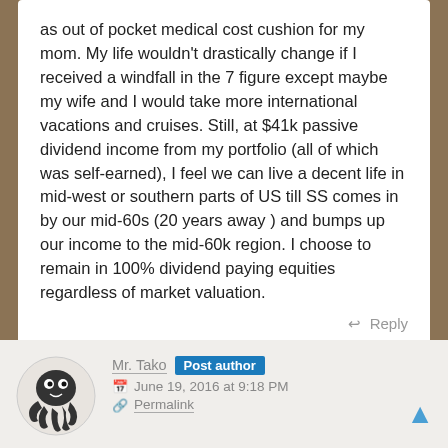as out of pocket medical cost cushion for my mom. My life wouldn't drastically change if I received a windfall in the 7 figure except maybe my wife and I would take more international vacations and cruises. Still, at $41k passive dividend income from my portfolio (all of which was self-earned), I feel we can live a decent life in mid-west or southern parts of US till SS comes in by our mid-60s (20 years away ) and bumps up our income to the mid-60k region. I choose to remain in 100% dividend paying equities regardless of market valuation.
Reply
Mr. Tako  Post author
June 19, 2016 at 9:18 PM
Permalink